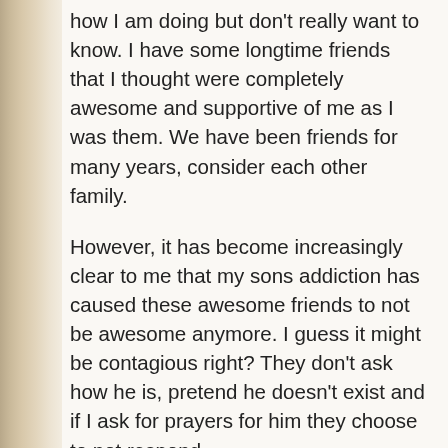how I am doing but don't really want to know.  I have some longtime friends that I thought were completely awesome and supportive of me as I was them.  We have been friends for many years, consider each other family.
However, it has become increasingly clear to me that my sons addiction has caused these awesome friends to not be awesome anymore.  I guess it might be contagious right?  They don't ask how he is, pretend he doesn't exist and if I ask for prayers for him they choose to not respond.
Despite the fact they support every other cause in the community, supporting a friend whose child is slowly dying from their addiciton is not a priority.  Battling addiction must not interest them.  Maybe you don't get the community support to stand up